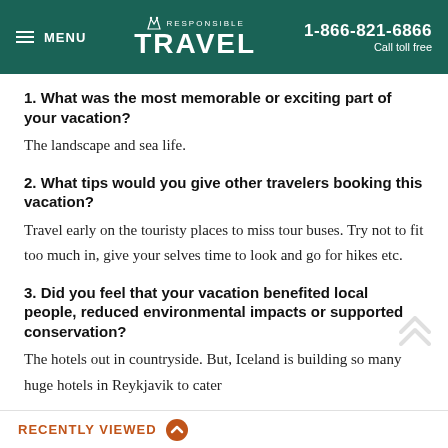MENU | RESPONSIBLE TRAVEL | 1-866-821-6866 Call toll free
1. What was the most memorable or exciting part of your vacation?
The landscape and sea life.
2. What tips would you give other travelers booking this vacation?
Travel early on the touristy places to miss tour buses. Try not to fit too much in, give your selves time to look and go for hikes etc.
3. Did you feel that your vacation benefited local people, reduced environmental impacts or supported conservation?
The hotels out in countryside. But, Iceland is building so many huge hotels in Reykjavik to cater
RECENTLY VIEWED